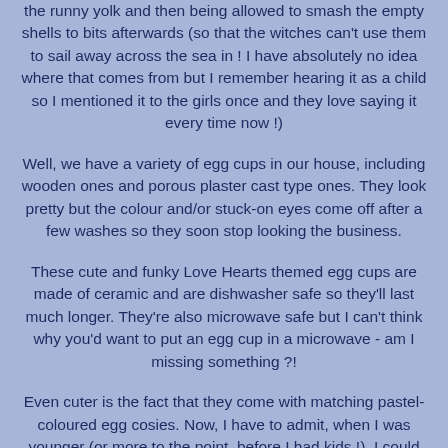the runny yolk and then being allowed to smash the empty shells to bits afterwards (so that the witches can't use them to sail away across the sea in ! I have absolutely no idea where that comes from but I remember hearing it as a child so I mentioned it to the girls once and they love saying it every time now !)
Well, we have a variety of egg cups in our house, including wooden ones and porous plaster cast type ones. They look pretty but the colour and/or stuck-on eyes come off after a few washes so they soon stop looking the business.
These cute and funky Love Hearts themed egg cups are made of ceramic and are dishwasher safe so they'll last much longer. They're also microwave safe but I can't think why you'd want to put an egg cup in a microwave - am I missing something ?!
Even cuter is the fact that they come with matching pastel-coloured egg cosies. Now, I have to admit, when I was younger (or more to the point, before I had kids !), I could never really understand the point of egg cosies. A boiled egg